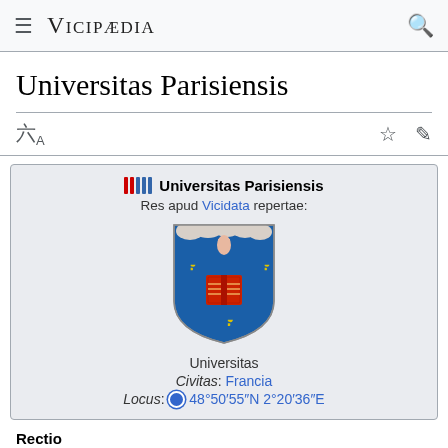Vicipaedia
Universitas Parisiensis
[Figure (infographic): Infobox for Universitas Parisiensis showing Wikidata strips icon, title, 'Res apud Vicidata repertae:', coat of arms of Universitas Parisiensis (blue shield with fleur-de-lis and red book), type Universitas, Civitas: Francia, Locus: 48°50′55″N 2°20′36″E]
Rectio